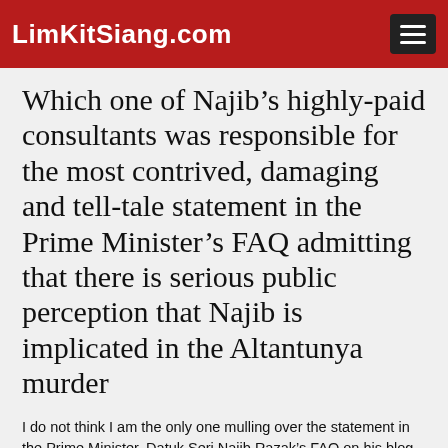LimKitSiang.com
Which one of Najib’s highly-paid consultants was responsible for the most contrived, damaging and tell-tale statement in the Prime Minister’s FAQ admitting that there is serious public perception that Najib is implicated in the Altantunya murder
I do not think I am the only one mulling over the statement in the Prime Minister, Datuk Seri Najib Razak’s FAQ on his blog with regard to “Allegations regarding the Altantuya issue”, as the more one thinks about it, the more one is